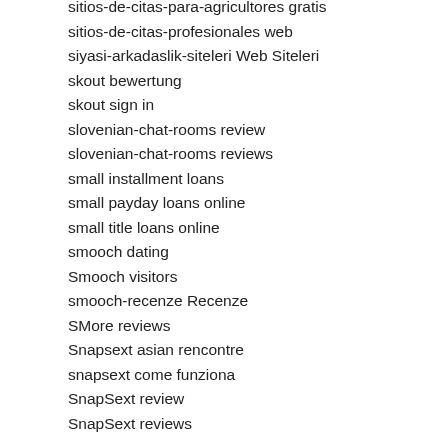sitios-de-citas-para-agricultores gratis
sitios-de-citas-profesionales web
siyasi-arkadaslik-siteleri Web Siteleri
skout bewertung
skout sign in
slovenian-chat-rooms review
slovenian-chat-rooms reviews
small installment loans
small payday loans online
small title loans online
smooch dating
Smooch visitors
smooch-recenze Recenze
SMore reviews
Snapsext asian rencontre
snapsext come funziona
SnapSext review
SnapSext reviews